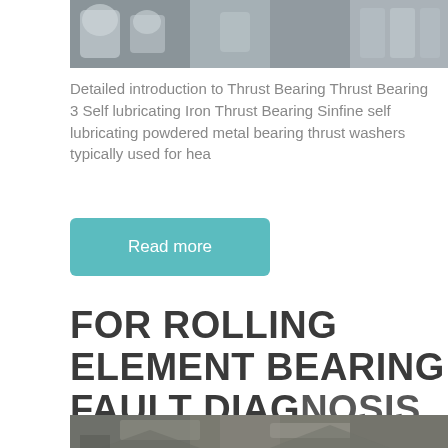[Figure (photo): Industrial machinery photo, partial view at top of page — appears to show concrete mixers or similar heavy equipment]
Detailed introduction to Thrust Bearing Thrust Bearing 3 Self lubricating Iron Thrust Bearing Sinfine self lubricating powdered metal bearing thrust washers typically used for hea
Read more
FOR ROLLING ELEMENT BEARING FAULT DIAGNOSIS
[Figure (photo): Construction or mining machinery photo — excavator or heavy equipment working on a dirt/gravel site]